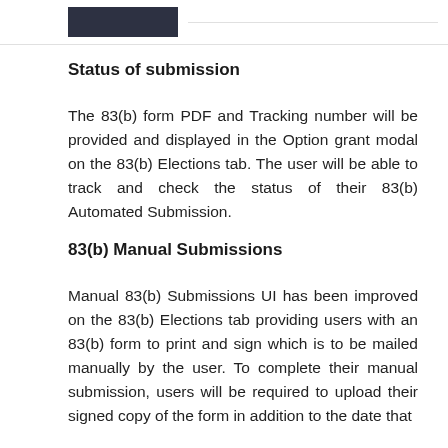[logo placeholder]
Status of submission
The 83(b) form PDF and Tracking number will be provided and displayed in the Option grant modal on the 83(b) Elections tab. The user will be able to track and check the status of their 83(b) Automated Submission.
83(b) Manual Submissions
Manual 83(b) Submissions UI has been improved on the 83(b) Elections tab providing users with an 83(b) form to print and sign which is to be mailed manually by the user. To complete their manual submission, users will be required to upload their signed copy of the form in addition to the date that